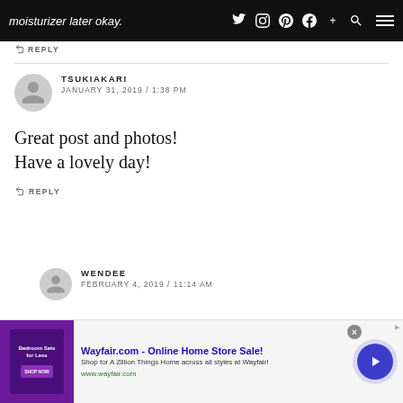moisturizer later okay.
↩ REPLY
TSUKIAKARI
JANUARY 31, 2019 / 1:38 PM
Great post and photos!
Have a lovely day!
↩ REPLY
WENDEE
FEBRUARY 4, 2019 / 11:14 AM
[Figure (screenshot): Wayfair.com advertisement banner with purple bedroom furniture image, ad copy reading 'Wayfair.com - Online Home Store Sale! Shop for A Zillion Things Home across all styles at Wayfair! www.wayfair.com', a blue circular arrow button, and a close (X) button.]